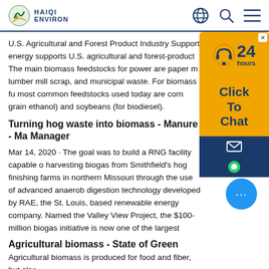HAIQI ENVIRON
U.S. Agricultural and Forest Product Industry Support energy supports U.S. agricultural and forest-product The main biomass feedstocks for power are paper m lumber mill scrap, and municipal waste. For biomass fu most common feedstocks used today are corn grain ethanol) and soybeans (for biodiesel).
Turning hog waste into biomass - Manure - Man Manager
Mar 14, 2020 · The goal was to build a RNG facility capable o harvesting biogas from Smithfield's hog finishing farms in northern Missouri through the use of advanced anaerob digestion technology developed by RAE, the St. Louis, based renewable energy company. Named the Valley View Project, the $100-million biogas initiative is now one of the largest
Agricultural biomass - State of Green